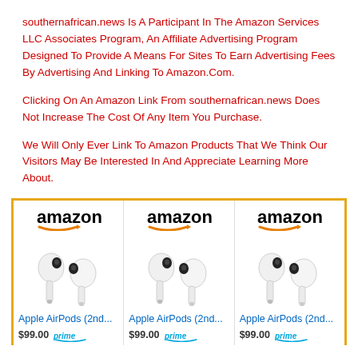southernafrican.news Is A Participant In The Amazon Services LLC Associates Program, An Affiliate Advertising Program Designed To Provide A Means For Sites To Earn Advertising Fees By Advertising And Linking To Amazon.Com.
Clicking On An Amazon Link From southernafrican.news Does Not Increase The Cost Of Any Item You Purchase.
We Will Only Ever Link To Amazon Products That We Think Our Visitors May Be Interested In And Appreciate Learning More About.
[Figure (other): Three Amazon product cards for Apple AirPods (2nd generation) at $99.00 each, with Amazon logo, product image, title, price, and Prime badge.]